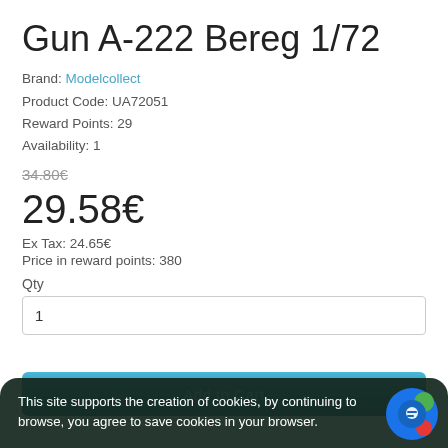Gun A-222 Bereg 1/72
Brand: Modelcollect
Product Code: UA72051
Reward Points: 29
Availability: 1
34.80€ (strikethrough)
29.58€
Ex Tax: 24.65€
Price in reward points: 380
Qty
1
Add to Cart
This site supports the creation of cookies, by continuing to browse, you agree to save cookies in your browser.